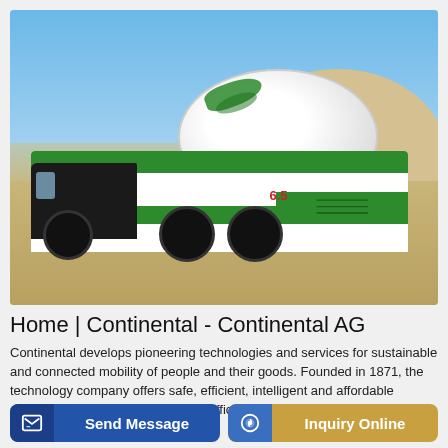[Figure (photo): A green and white self-loading concrete mixer truck on a sandy construction site with a blue sky and large sand hills in the background. The truck has large black tires and a rotating drum mixer on the back, with the number 6.5 visible on the side.]
Home | Continental - Continental AG
Continental develops pioneering technologies and services for sustainable and connected mobility of people and their goods. Founded in 1871, the technology company offers safe, efficient, intelligent and affordable solutions for vehicles, machines, traffic and transportation.
Send Message
Inquiry Online